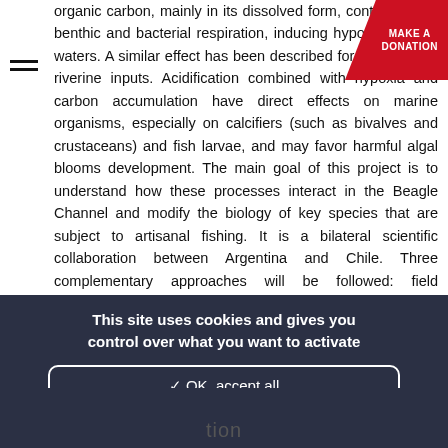organic carbon, mainly in its dissolved form, contributing to benthic and bacterial respiration, inducing hypoxia in deep waters. A similar effect has been described for high latitude riverine inputs. Acidification combined with hypoxia and carbon accumulation have direct effects on marine organisms, especially on calcifiers (such as bivalves and crustaceans) and fish larvae, and may favor harmful algal blooms development. The main goal of this project is to understand how these processes interact in the Beagle Channel and modify the biology of key species that are subject to artisanal fishing. It is a bilateral scientific collaboration between Argentina and Chile. Three complementary approaches will be followed: field observation and experiments, laboratory experiments and, as a legacy, the building of a long-term observing
[Figure (other): Red donation badge in upper right corner with text MAKE A DONATION]
This site uses cookies and gives you control over what you want to activate
✓ OK, accept all
✗ Deny all cookies
Personalize
tion